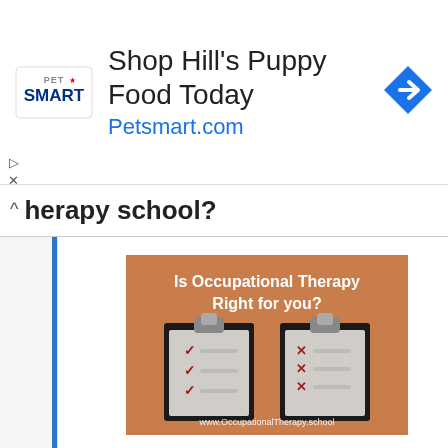[Figure (screenshot): PetSmart advertisement banner: logo on left, 'Shop Hill's Puppy Food Today' headline, 'Petsmart.com' URL in blue, and a blue diamond navigation arrow icon on right.]
herapy school?
[Figure (infographic): Infographic on brown/tan background with white text 'Is Occupational Therapy Right for you?' showing two clipboards — one with checkmarks (red ticks) and one with X marks (red crosses), and URL 'www.OccupationalTherapy.school' at the bottom.]
Is OT right for you?